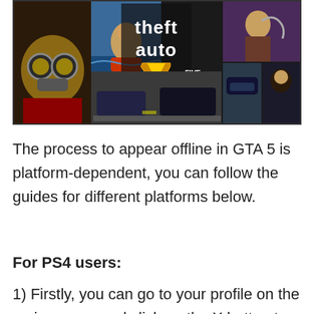[Figure (illustration): GTA 5 (Grand Theft Auto V) promotional banner image showing multiple characters and scenes in a comic-book collage style with the 'Grand Theft Auto V' logo in the center]
The process to appear offline in GTA 5 is platform-dependent, you can follow the guides for different platforms below.
For PS4 users:
1) Firstly, you can go to your profile on the main screen and click on the X button to